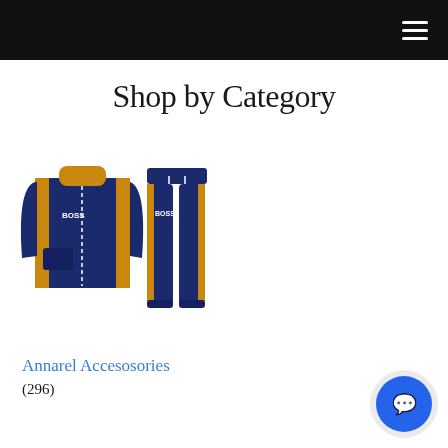Shop by Category
[Figure (photo): Navy and gold BOSS tracksuit set consisting of a zip-up jacket and jogging pants, both with BOSS branding]
Annarel Accesosories
(296)